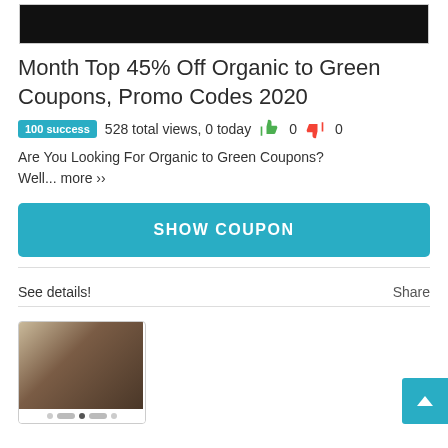[Figure (screenshot): Black banner image at top of coupon card]
Month Top 45% Off Organic to Green Coupons, Promo Codes 2020
100 success  528 total views, 0 today  👍 0  👎 0
Are You Looking For Organic to Green Coupons? Well... more ››
SHOW COUPON
See details!
Share
[Figure (screenshot): Thumbnail image of a woman in a brown jacket on a coupon card with navigation dots]